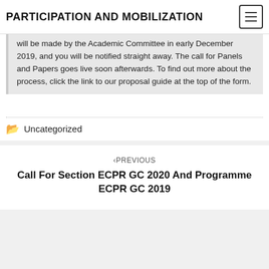PARTICIPATION AND MOBILIZATION
will be made by the Academic Committee in early December 2019, and you will be notified straight away. The call for Panels and Papers goes live soon afterwards. To find out more about the process, click the link to our proposal guide at the top of the form.
Uncategorized
‹PREVIOUS
Call For Section ECPR GC 2020 And Programme ECPR GC 2019